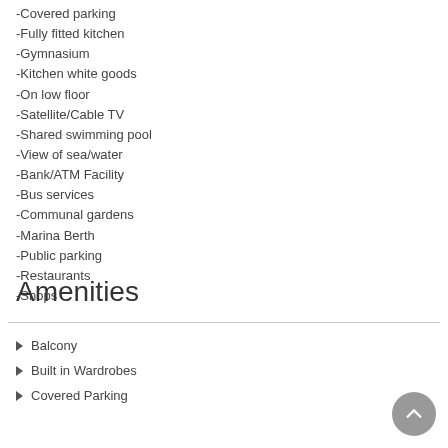-Covered parking
-Fully fitted kitchen
-Gymnasium
-Kitchen white goods
-On low floor
-Satellite/Cable TV
-Shared swimming pool
-View of sea/water
-Bank/ATM Facility
-Bus services
-Communal gardens
-Marina Berth
-Public parking
-Restaurants
-Shops
Amenities
Balcony
Built in Wardrobes
Covered Parking